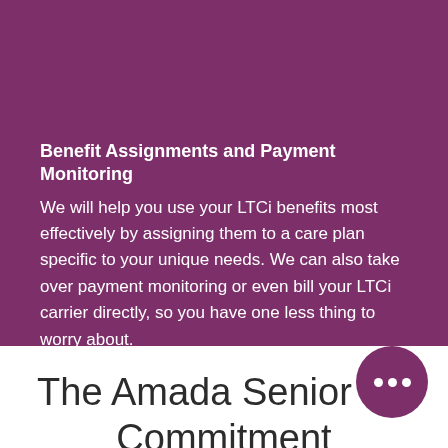Benefit Assignments and Payment Monitoring
We will help you use your LTCi benefits most effectively by assigning them to a care plan specific to your unique needs. We can also take over payment monitoring or even bill your LTCi carrier directly, so you have one less thing to worry about.
The Amada Senior Care Commitment